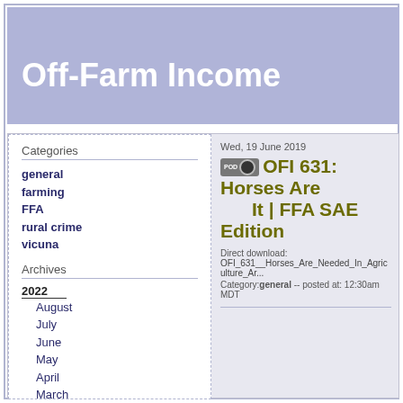Off-Farm Income
Categories
general
farming
FFA
rural crime
vicuna
Archives
2022
August
July
June
May
April
March
February
January
2021
December
Wed, 19 June 2019
OFI 631: Horses Are Needed In Agriculture, And You Can Make It | FFA SAE Edition
Direct download: OFI_631__Horses_Are_Needed_In_Agriculture_Ar...
Category: general -- posted at: 12:30am MDT